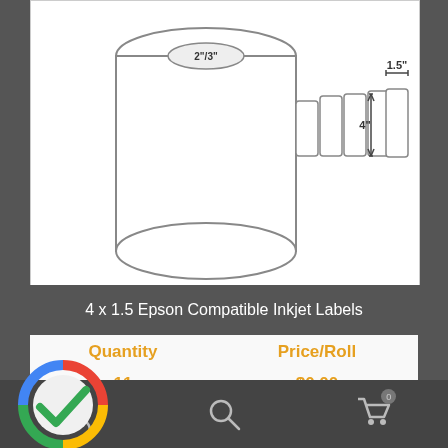[Figure (illustration): Product diagram of a label roll showing labels with dimensions: 2"/3" core diameter, 4" label height, 1.5" label width]
4 x 1.5 Epson Compatible Inkjet Labels
| Quantity | Price/Roll |
| --- | --- |
| 11 | $0.00 |
| to 23 | $0.00 |
[Figure (logo): Google colored checkmark circle logo overlay]
Navigation bar with person icon, search icon, and cart icon with badge 0